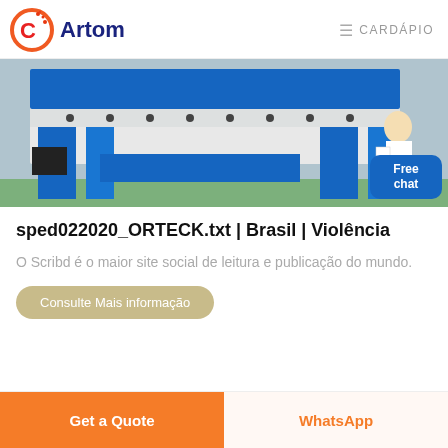Artom | CARDÁPIO
[Figure (photo): Industrial machinery (blue and white heavy equipment, possibly a press or manufacturing machine) photographed outdoors with a person in white shirt visible at right edge. A 'Free chat' badge appears bottom-right.]
sped022020_ORTECK.txt | Brasil | Violência
O Scribd é o maior site social de leitura e publicação do mundo.
Consulte Mais informação
Get a Quote  WhatsApp